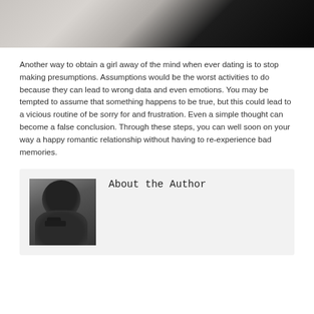[Figure (photo): Top portion of a photograph showing light and dark contrast, partially cropped at the top of the page]
Another way to obtain a girl away of the mind when ever dating is to stop making presumptions. Assumptions would be the worst activities to do because they can lead to wrong data and even emotions. You may be tempted to assume that something happens to be true, but this could lead to a vicious routine of be sorry for and frustration. Even a simple thought can become a false conclusion. Through these steps, you can well soon on your way a happy romantic relationship without having to re-experience bad memories.
[Figure (photo): Black and white portrait photo of a man thinking, with hand near mouth]
About the Author